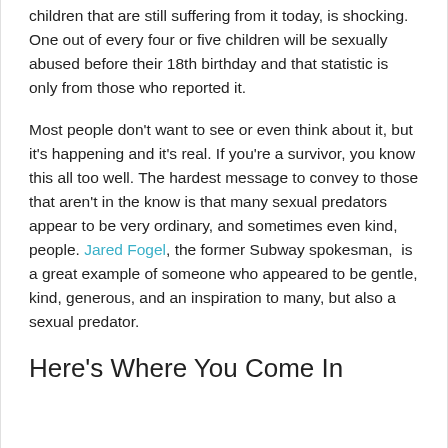children that are still suffering from it today, is shocking. One out of every four or five children will be sexually abused before their 18th birthday and that statistic is only from those who reported it.
Most people don't want to see or even think about it, but it's happening and it's real. If you're a survivor, you know this all too well. The hardest message to convey to those that aren't in the know is that many sexual predators appear to be very ordinary, and sometimes even kind, people. Jared Fogel, the former Subway spokesman,  is a great example of someone who appeared to be gentle, kind, generous, and an inspiration to many, but also a sexual predator.
Here's Where You Come In